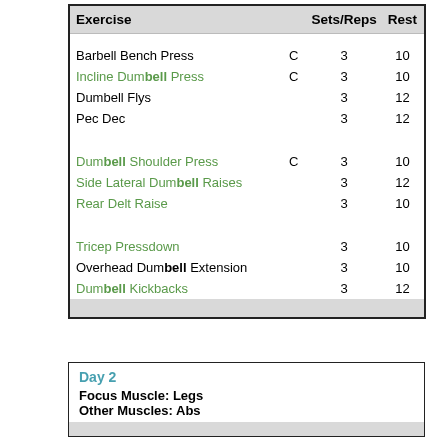| Exercise |  | Sets/Reps | Rest |
| --- | --- | --- | --- |
| Barbell Bench Press | C | 3 | 10 |
| Incline Dumbell Press | C | 3 | 10 |
| Dumbell Flys |  | 3 | 12 |
| Pec Dec |  | 3 | 12 |
| Dumbell Shoulder Press | C | 3 | 10 |
| Side Lateral Dumbell Raises |  | 3 | 12 |
| Rear Delt Raise |  | 3 | 10 |
| Tricep Pressdown |  | 3 | 10 |
| Overhead Dumbell Extension |  | 3 | 10 |
| Dumbell Kickbacks |  | 3 | 12 |
Day 2
Focus Muscle: Legs
Other Muscles: Abs